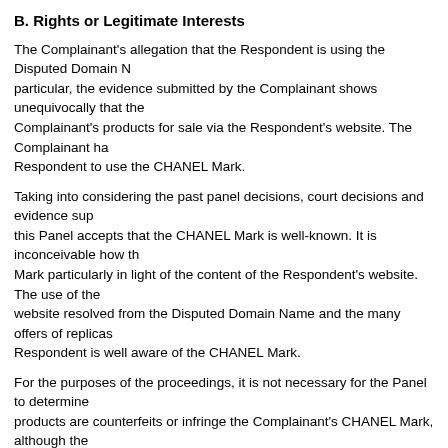B. Rights or Legitimate Interests
The Complainant's allegation that the Respondent is using the Disputed Domain N... particular, the evidence submitted by the Complainant shows unequivocally that the Complainant's products for sale via the Respondent's website. The Complainant ha... Respondent to use the CHANEL Mark.
Taking into considering the past panel decisions, court decisions and evidence sup... this Panel accepts that the CHANEL Mark is well-known. It is inconceivable how th... Mark particularly in light of the content of the Respondent's website. The use of the... website resolved from the Disputed Domain Name and the many offers of replicas... Respondent is well aware of the CHANEL Mark.
For the purposes of the proceedings, it is not necessary for the Panel to determine... products are counterfeits or infringe the Complainant's CHANEL Mark, although the... of counterfeiting and trade mark infringement are subject to the laws of the relevan... to engage in an assessment of these matters. Nevertheless, the use of the Dispute... registered trade mark has been applied when no authorisation, licence or permissio... absence of any logical and reasonable explanation, can only point to the inevitable... right or legitimate interest in the Disputed Domain Name.
Despite the gravity of this allegation, it failed to elicit any reaction from the Respon... important to file a Response. For the Respondent to act in such a cavalier fashion i... Respondent does not have any rights or legitimate interests in it, or at least, the Re... circumstances, the Panel holds that the Respondent does not have any rights or le... the second limb of paragraph 4(a) of the Policy is established.
C. Registered and Used in Bad Faith
Paragraph 4(b)(iv) of the Policy provides an example of bad faith registration and u...
“by using the domain name, you have intentionally attempted to attract, for comme... line location, by creating a likelihood of confusion with the complainant's mark as to...